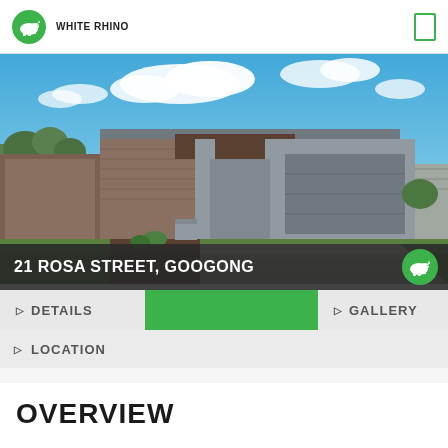[Figure (logo): White Rhino logo — green circle with white rhino icon and 'WHITE RHINO' text below]
[Figure (photo): Exterior photo of a modern single-story home at 21 Rosa Street, Googong, with blue sky, clouds, green lawn, double garage, and concrete driveway]
21 ROSA STREET, GOOGONG
DETAILS
GALLERY
LOCATION
OVERVIEW